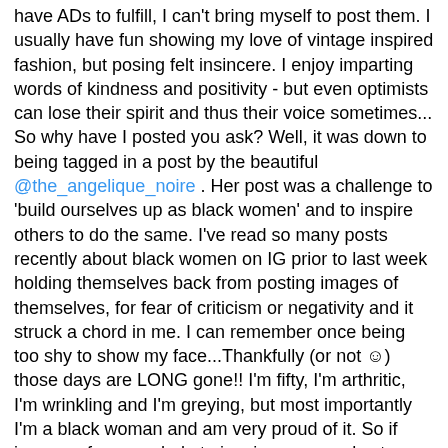have ADs to fulfill, I can't bring myself to post them. I usually have fun showing my love of vintage inspired fashion, but posing felt insincere. I enjoy imparting words of kindness and positivity - but even optimists can lose their spirit and thus their voice sometimes... So why have I posted you ask? Well, it was down to being tagged in a post by the beautiful @the_angelique_noire . Her post was a challenge to 'build ourselves up as black women' and to inspire others to do the same. I've read so many posts recently about black women on IG prior to last week holding themselves back from posting images of themselves, for fear of criticism or negativity and it struck a chord in me. I can remember once being too shy to show my face...Thankfully (or not ☺) those days are LONG gone!! I'm fifty, I'm arthritic, I'm wrinkling and I'm greying, but most importantly I'm a black woman and am very proud of it. So if images of me can help to inspire anyone else to show their face proudly and with dignity, then that's worth pushing through my dark cloud. I've tagged a few other women to rise to this same challenge - IF they choose to. To read the proper wording for the challenge - please visit @the_angelique_noire 's post.
I didn't stick to the exact script - which obviously means that I haven't completely lost my 'voice' yet - which (hopefully) can only be a good thing. 🖤x